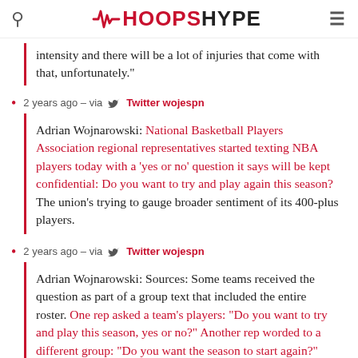HOOPSHYPE
intensity and there will be a lot of injuries that come with that, unfortunately."
2 years ago – via Twitter wojespn
Adrian Wojnarowski: National Basketball Players Association regional representatives started texting NBA players today with a 'yes or no' question it says will be kept confidential: Do you want to try and play again this season? The union's trying to gauge broader sentiment of its 400-plus players.
2 years ago – via Twitter wojespn
Adrian Wojnarowski: Sources: Some teams received the question as part of a group text that included the entire roster. One rep asked a team's players: "Do you want to try and play this season, yes or no?" Another rep worded to a different group: "Do you want the season to start again?"